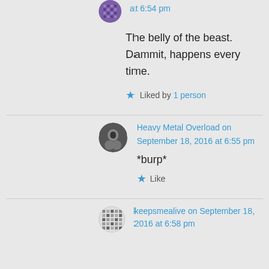at 6:54 pm
The belly of the beast. Dammit, happens every time.
Liked by 1 person
Heavy Metal Overload on September 18, 2016 at 6:55 pm
*burp*
Like
keepsmealive on September 18, 2016 at 6:58 pm